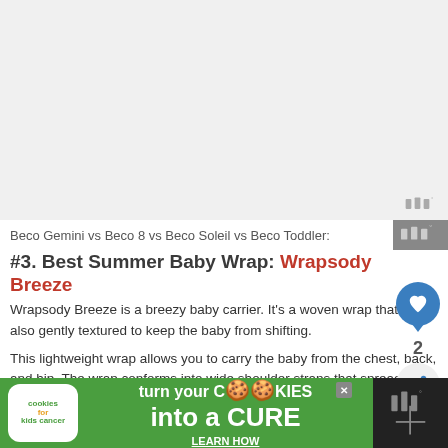[Figure (photo): Large image placeholder area, light gray, with a watermark logo (three vertical bars and degree symbol) in the bottom-right corner]
Beco Gemini vs Beco 8 vs Beco Soleil vs Beco Toddler:
#3. Best Summer Baby Wrap: Wrapsody Breeze
Wrapsody Breeze is a breezy baby carrier. It's a woven wrap that is also gently textured to keep the baby from shifting.
This lightweight wrap allows you to carry the baby from the chest, back, and hip. The wrap conforms into wide shoulder straps that spread the weight evenly across the shoulders, back, and hips.
[Figure (infographic): Advertisement banner: cookies for kids cancer - turn your cookies into a CURE LEARN HOW]